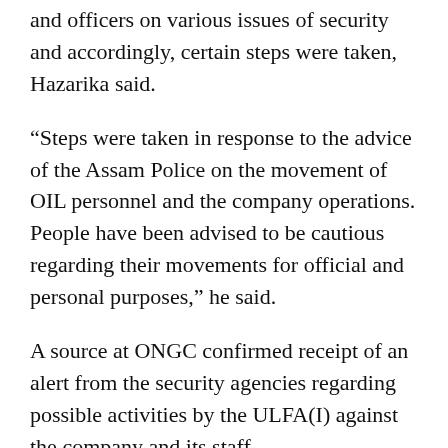and officers on various issues of security and accordingly, certain steps were taken, Hazarika said.
“Steps were taken in response to the advice of the Assam Police on the movement of OIL personnel and the company operations. People have been advised to be cautious regarding their movements for official and personal purposes,” he said.
A source at ONGC confirmed receipt of an alert from the security agencies regarding possible activities by the ULFA(I) against the company and its staff.
“We have taken some measures to protect our